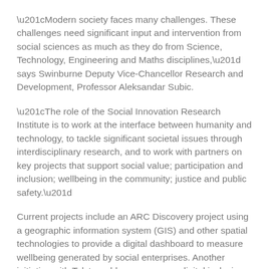“Modern society faces many challenges. These challenges need significant input and intervention from social sciences as much as they do from Science, Technology, Engineering and Maths disciplines,” says Swinburne Deputy Vice-Chancellor Research and Development, Professor Aleksandar Subic.
“The role of the Social Innovation Research Institute is to work at the interface between humanity and technology, to tackle significant societal issues through interdisciplinary research, and to work with partners on key projects that support social value; participation and inclusion; wellbeing in the community; justice and public safety.”
Current projects include an ARC Discovery project using a geographic information system (GIS) and other spatial technologies to provide a digital dashboard to measure wellbeing generated by social enterprises. Another initiative with Telstra addresses uneven digital inclusion and participation in Australia due to remoteness, isolation